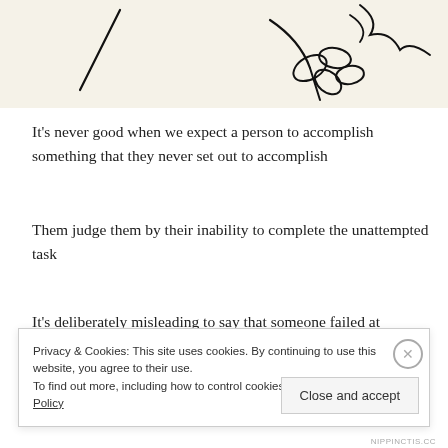[Figure (illustration): Line drawing illustration on a cream/beige background showing an abstract hand holding or touching a flower, rendered in minimalist black lines]
It's never good when we expect a person to accomplish something that they never set out to accomplish
Them judge them by their inability to complete the unattempted task
It's deliberately misleading to say that someone failed at
Privacy & Cookies: This site uses cookies. By continuing to use this website, you agree to their use.
To find out more, including how to control cookies, see here: Cookie Policy
Close and accept
NIPPINCTIS.CC